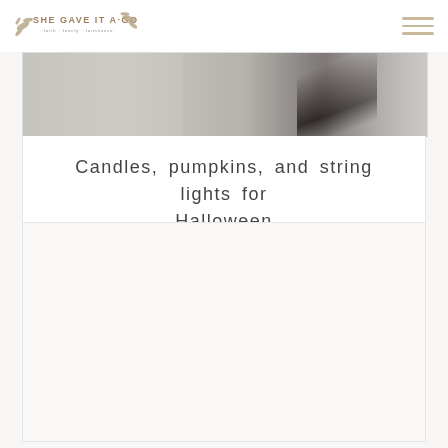SHE GAVE IT A GO - faith · family · farmhouse
[Figure (photo): Partial photo showing a blurred interior scene with dark hair and light background visible]
Candles, pumpkins, and string lights for Halloween
[Figure (photo): White/blank card area below, mostly empty white space]